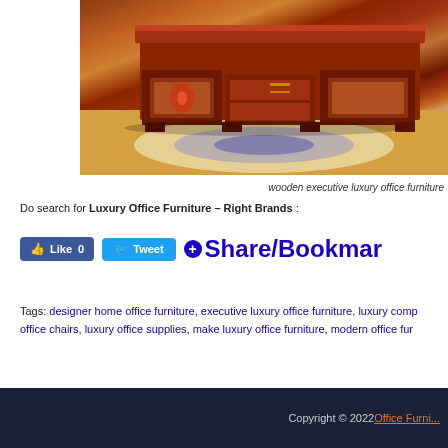[Figure (photo): Wooden executive luxury office furniture - a large ornate wooden executive desk with decorative panels and inlays, sitting on a patterned area rug on a hardwood floor]
wooden executive luxury office furniture
Do search for Luxury Office Furniture – Right Brands :
[Figure (infographic): Social sharing buttons: Facebook Like (0), Tweet button, and Share/Bookmark button]
Tags: designer home office furniture, executive luxury office furniture, luxury comp office chairs, luxury office supplies, make luxury office furniture, modern office fur
Copyright © 2022 Office Furni...